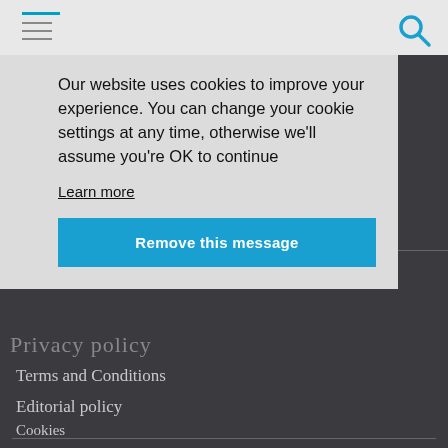[Figure (screenshot): Cookie consent banner overlay on a pharma news website. Contains cookie notice text, a 'Learn more' link, and a 'Remove this message' blue button. Background shows a dark-themed website footer with navigation links and copyright notice.]
Our website uses cookies to improve your experience. You can change your cookie settings at any time, otherwise we'll assume you're OK to continue
Learn more
Remove this message
Privacy policy
Terms and Conditions
Editorial policy
Cookies
RSS – feed subscriptions
© Copyright PharmaTimes Media Limited 2022